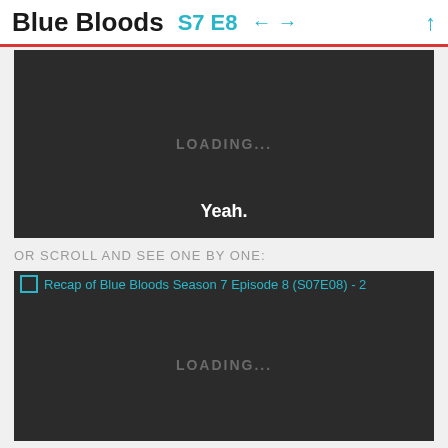Blue Bloods S7 E8 ← → ↑
[Figure (screenshot): Dark video player box showing 'LOADING...' text in center and 'Yeah.' subtitle text at bottom]
OR SCROLL AND SEE ONE BY ONE:
[Figure (screenshot): Second dark video player box with image alt text 'Recap of Blue Bloods Season 7 Episode 8 (S07E08) - 2' and 'LOADING...' text]